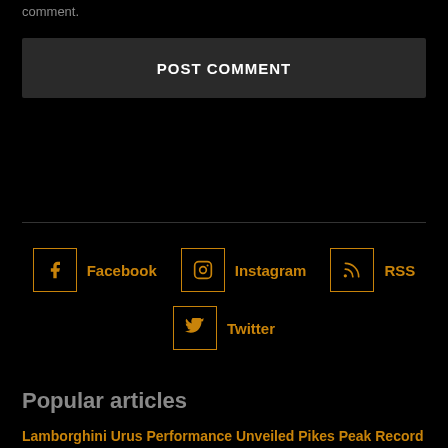comment.
POST COMMENT
[Figure (other): Social media links section with icons for Facebook, Instagram, RSS, and Twitter in orange/gold color with bordered icon boxes]
Popular articles
Lamborghini Urus Performance Unveiled Pikes Peak Record